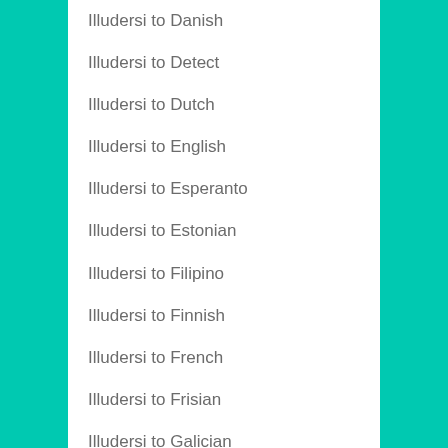Illudersi to Danish
Illudersi to Detect
Illudersi to Dutch
Illudersi to English
Illudersi to Esperanto
Illudersi to Estonian
Illudersi to Filipino
Illudersi to Finnish
Illudersi to French
Illudersi to Frisian
Illudersi to Galician
Illudersi to Georgian
Illudersi to German
Illudersi to Greek